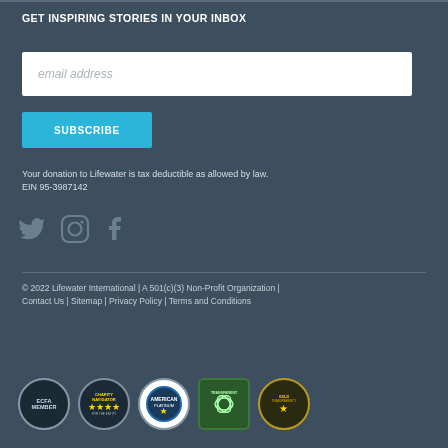GET INSPIRING STORIES IN YOUR INBOX
email address
SUBSCRIBE
Your donation to Lifewater is tax deductible as allowed by law. EIN 95-3987142
[Figure (illustration): Social media icons: Twitter, Instagram, Facebook]
© 2022 Lifewater International | A 501(c)(3) Non-Profit Organization | Contact Us | Sitemap | Privacy Policy | Terms and Conditions
[Figure (logo): Five certification/accreditation badges: ECFA, Charity Navigator, American Platinum Organization, Transparent, and one gold badge]